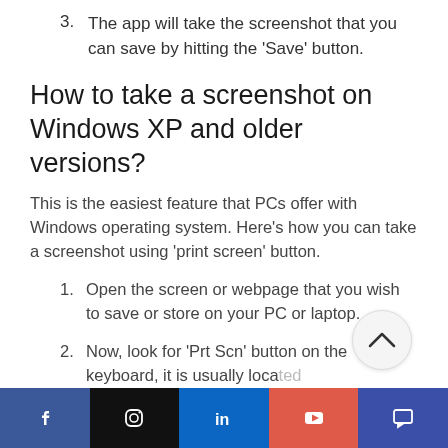3. The app will take the screenshot that you can save by hitting the 'Save' button.
How to take a screenshot on Windows XP and older versions?
This is the easiest feature that PCs offer with Windows operating system. Here's how you can take a screenshot using 'print screen' button.
1. Open the screen or webpage that you wish to save or store on your PC or laptop.
2. Now, look for 'Prt Scn' button on the keyboard, it is usually located
Social media links: Facebook, Instagram, LinkedIn, YouTube, Chat